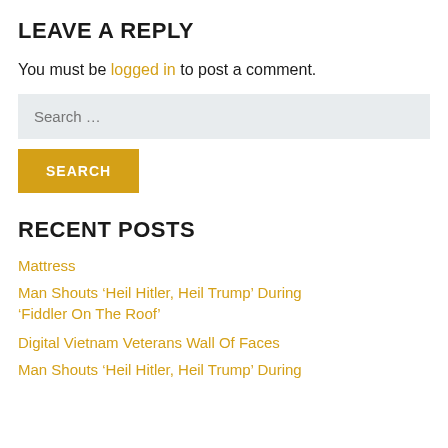LEAVE A REPLY
You must be logged in to post a comment.
Search …
SEARCH
RECENT POSTS
Mattress
Man Shouts ‘Heil Hitler, Heil Trump’ During ‘Fiddler On The Roof’
Digital Vietnam Veterans Wall Of Faces
Man Shouts ‘Heil Hitler, Heil Trump’ During